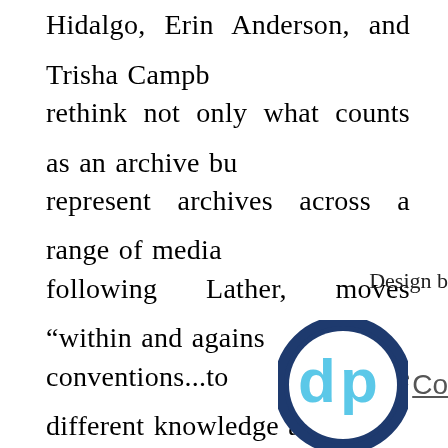Hidalgo, Erin Anderson, and Trisha Campbell rethink not only what counts as an archive but represent archives across a range of media following Lather, moves “within and against conventions...to produce different knowledge and knowledge differently” (201). The project also
Design b
[Figure (logo): A circular logo with dark blue border, light blue 'dp' letters inside, followed by partial text 'Co' in grey with underline]